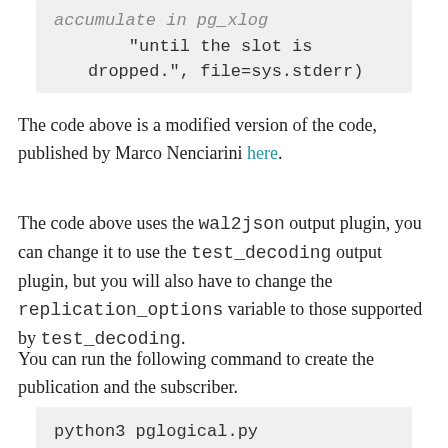accumulate in pg_xlog
"until the slot is dropped.", file=sys.stderr)
The code above is a modified version of the code, published by Marco Nenciarini here.
The code above uses the wal2json output plugin, you can change it to use the test_decoding output plugin, but you will also have to change the replication_options variable to those supported by test_decoding.
You can run the following command to create the publication and the subscriber.
python3 pglogical.py